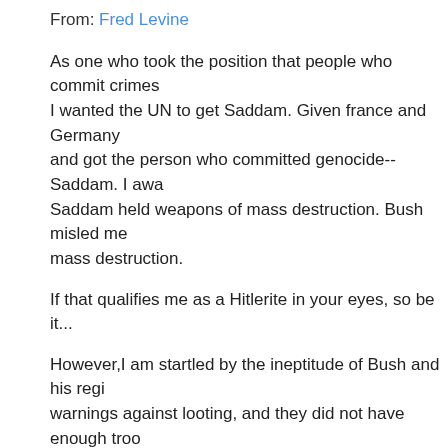From: Fred Levine
As one who took the position that people who commit crimes I wanted the UN to get Saddam. Given france and Germany and got the person who committed genocide--Saddam. I awa Saddam held weapons of mass destruction. Bush misled me mass destruction.
If that qualifies me as a Hitlerite in your eyes, so be it...
However,I am startled by the ineptitude of Bush and his regi warnings against looting, and they did not have enough troo dumps--as the State Dept. predicted. They constantly flip-flo achieve security, and they demonized General Clarke when troops to maintain security.
Worst of all, Bush's rational that Iraq posed threat to the US Quida thruout the Muslim world. Troops that should have sec Iraq. Tragically, Bush didn't understand that the war was betw extremists, and he gave moral ammunition to the extremists
However, I remain startled at the people who failed to protes criminals who commit crimes against humanity. That was wh and would encourage future Hitlers.